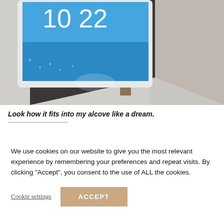[Figure (photo): Photo of a tablet or large display screen with a blue clock screensaver showing '10 22', fitted into a dark alcove or shelf unit. The screen has a white bezel. The right side shows a light gray wall and a hint of a plant.]
Look how it fits into my alcove like a dream.
We use cookies on our website to give you the most relevant experience by remembering your preferences and repeat visits. By clicking “Accept”, you consent to the use of ALL the cookies.
Cookie settings  ACCEPT